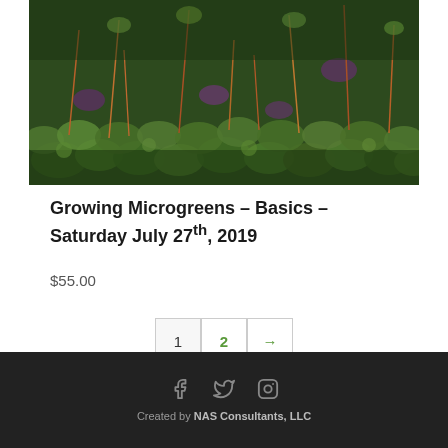[Figure (photo): Close-up photo of microgreens with green and purple leaves and thin reddish-orange stems growing densely]
Growing Microgreens – Basics – Saturday July 27th, 2019
$55.00
1  2  →
Created by NAS Consultants, LLC